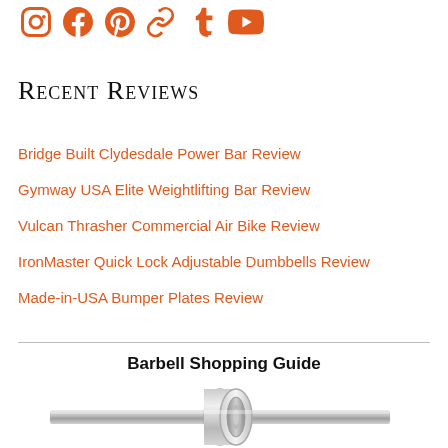[Figure (logo): Social media icons: Instagram, Facebook, Pinterest, StumbleUpon/link, Tumblr, YouTube — all in orange]
Recent Reviews
Bridge Built Clydesdale Power Bar Review
Gymway USA Elite Weightlifting Bar Review
Vulcan Thrasher Commercial Air Bike Review
IronMaster Quick Lock Adjustable Dumbbells Review
Made-in-USA Bumper Plates Review
Barbell Shopping Guide
[Figure (photo): Close-up photograph of a chrome/silver barbell collar and sleeve, showing the bearing/bushing mechanism from a side angle]